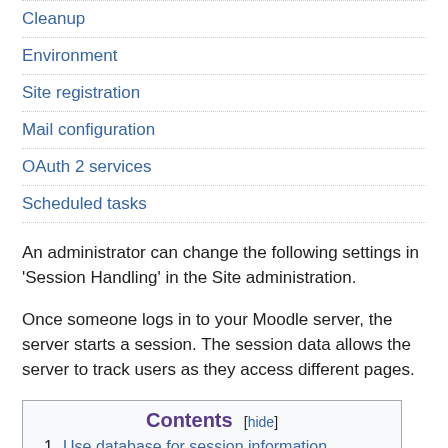Cleanup
Environment
Site registration
Mail configuration
OAuth 2 services
Scheduled tasks
An administrator can change the following settings in 'Session Handling' in the Site administration.
Once someone logs in to your Moodle server, the server starts a session. The session data allows the server to track users as they access different pages.
Contents [hide]
1 Use database for session information